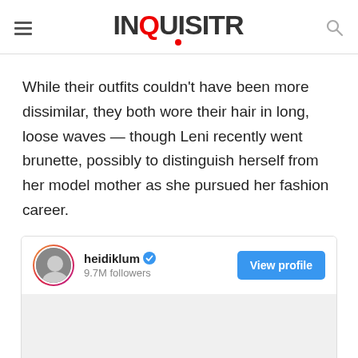INQUISITR
While their outfits couldn't have been more dissimilar, they both wore their hair in long, loose waves — though Leni recently went brunette, possibly to distinguish herself from her model mother as she pursued her fashion career.
[Figure (screenshot): Instagram profile embed for heidiklum showing username, blue verified checkmark, 9.7M followers, and a View profile button in blue.]